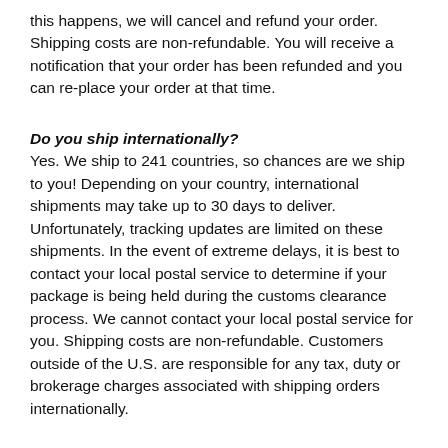this happens, we will cancel and refund your order. Shipping costs are non-refundable. You will receive a notification that your order has been refunded and you can re-place your order at that time.
Do you ship internationally?
Yes. We ship to 241 countries, so chances are we ship to you! Depending on your country, international shipments may take up to 30 days to deliver. Unfortunately, tracking updates are limited on these shipments. In the event of extreme delays, it is best to contact your local postal service to determine if your package is being held during the customs clearance process. We cannot contact your local postal service for you. Shipping costs are non-refundable. Customers outside of the U.S. are responsible for any tax, duty or brokerage charges associated with shipping orders internationally.
What is Colortest?
Colortest is a full-service Artist merchandising company